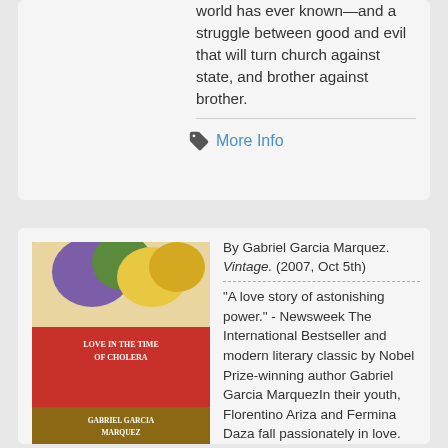world has ever known—and a struggle between good and evil that will turn church against state, and brother against brother.
More Info
[Figure (photo): Book cover of 'Love in the Time of Cholera' by Gabriel Garcia Marquez, Vintage edition]
By Gabriel Garcia Marquez. Vintage. (2007, Oct 5th)
"A love story of astonishing power." - Newsweek The International Bestseller and modern literary classic by Nobel Prize-winning author Gabriel Garcia MarquezIn their youth, Florentino Ariza and Fermina Daza fall passionately in love. When Fermina eventually chooses to marry a wealthy, well-born doctor, Florentino is devastated, but he is a romantic. As he rises in his business career he whiles away the years in 622 affairs--yet he reserves his heart for Fermina. Her husband dies at last, and Florentino purposefully attends the funeral. Fifty years, nine months, and four